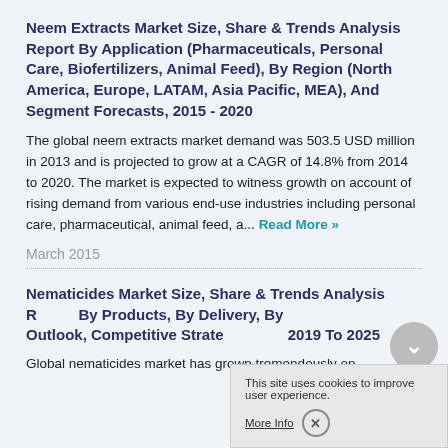Neem Extracts Market Size, Share & Trends Analysis Report By Application (Pharmaceuticals, Personal Care, Biofertilizers, Animal Feed), By Region (North America, Europe, LATAM, Asia Pacific, MEA), And Segment Forecasts, 2015 - 2020
The global neem extracts market demand was 503.5 USD million in 2013 and is projected to grow at a CAGR of 14.8% from 2014 to 2020. The market is expected to witness growth on account of rising demand from various end-use industries including personal care, pharmaceutical, animal feed, a... Read More »
March 2015
Nematicides Market Size, Share & Trends Analysis Report By Products, By Delivery, By Application, By Regional Outlook, Competitive Strategy, And Segment Forecasts, 2019 To 2025
Global nematicides market has grown tremendously on